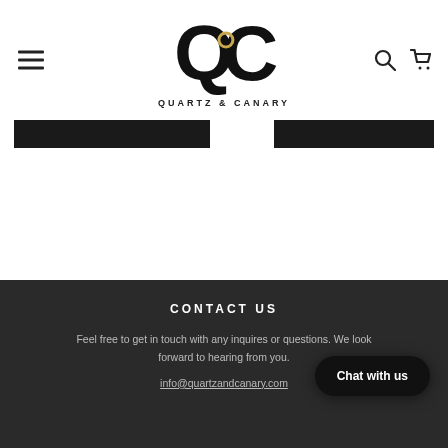Quartz & Canary — navigation header with menu, logo, search, and cart icons
[Figure (logo): Quartz & Canary logo: stylized QC letters in bold black with a small gold circle accent, and the text QUARTZ & CANARY beneath in spaced capitals]
CONTACT US
Feel free to get in touch with any inquires or questions. We look forward to hearing from you.
info@quartzandcanary.com
Chat with us